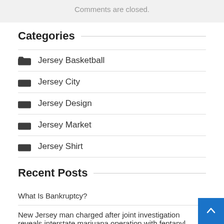Comments are closed.
Categories
Jersey Basketball
Jersey City
Jersey Design
Jersey Market
Jersey Shirt
Recent Posts
What Is Bankruptcy?
New Jersey man charged after joint investigation reveals interstate marijuana operation with fentanyl